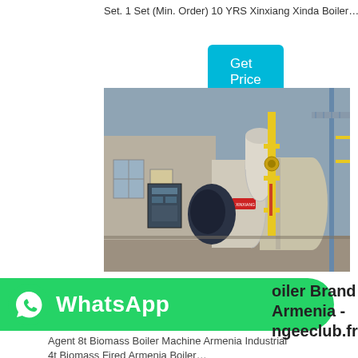Set. 1 Set (Min. Order) 10 YRS Xinxiang Xinda Boiler…
Get Price
[Figure (photo): Industrial boiler equipment in a factory setting, showing large cylindrical boiler tanks with gas piping (yellow vertical pipe) and a burner unit on the left, inside an industrial building.]
Boiler Brand Armenia - ngeeclub.fr
Agent 8t Biomass Boiler Machine Armenia Industrial 4t Biomass Fired …Armenia Boiler…